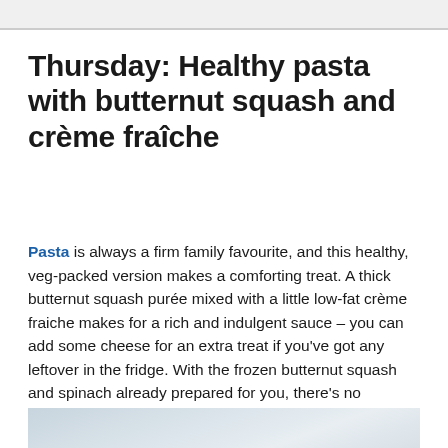Thursday: Healthy pasta with butternut squash and crème fraîche
Pasta is always a firm family favourite, and this healthy, veg-packed version makes a comforting treat. A thick butternut squash purée mixed with a little low-fat crème fraiche makes for a rich and indulgent sauce – you can add some cheese for an extra treat if you've got any leftover in the fridge. With the frozen butternut squash and spinach already prepared for you, there's no chopping involved at all; all you need are two pans and to do a bit of mashing and stirring.
[Figure (photo): Partial view of a food photo (pasta dish), bottom portion of page]